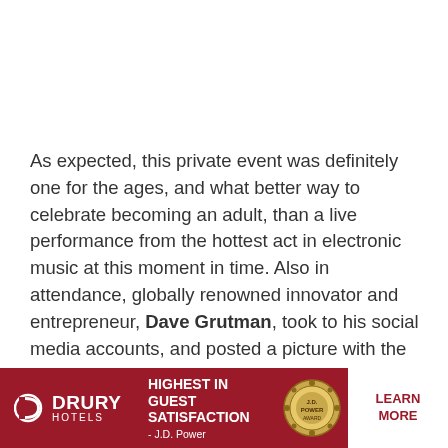As expected, this private event was definitely one for the ages, and what better way to celebrate becoming an adult, than a live performance from the hottest act in electronic music at this moment in time. Also in attendance, globally renowned innovator and entrepreneur, Dave Grutman, took to his social media accounts, and posted a picture with the Swedish icons, as they were about to perform at this private event in
[Figure (other): Drury Hotels advertisement banner: red background with Drury Hotels logo on left, text 'HIGHEST IN GUEST SATISFACTION - J.D. Power' in center, circular award medallion graphic, and white 'LEARN MORE' call-to-action button on right.]